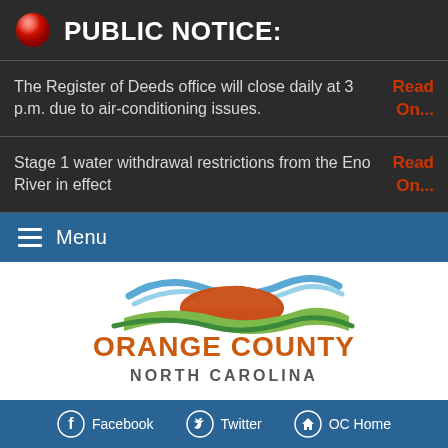PUBLIC NOTICE:
The Register of Deeds office will close daily at 3 p.m. due to air-conditioning issues. Read On...
Stage 1 water withdrawal restrictions from the Eno River in effect Read On...
Menu
[Figure (logo): Orange County North Carolina logo with wave graphic in blue, green, and red/orange above the text ORANGE COUNTY NORTH CAROLINA]
Facebook  Twitter  OC Home